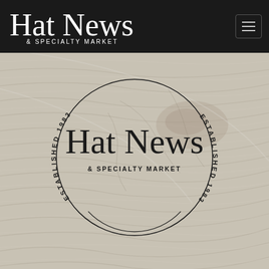[Figure (logo): Hat News & Specialty Market header logo in white script on black background with hamburger menu icon]
[Figure (logo): Hat News & Specialty Market circular logo with 'ESTABLISHED 1983' text around the ring, shown over wood grain texture background]